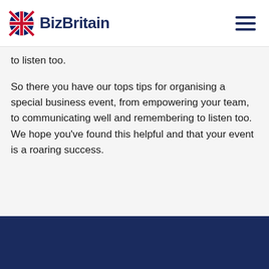BizBritain
to listen too.
So there you have our tops tips for organising a special business event, from empowering your team, to communicating well and remembering to listen too. We hope you've found this helpful and that your event is a roaring success.